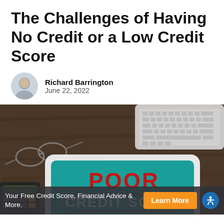The Challenges of Having No Credit or a Low Credit Score
Richard Barrington
June 22, 2022
[Figure (photo): Overhead shot of a wooden desk with a white tablet displaying 'POOR CREDIT SCORE' in red letters on a teal background, alongside glasses, a keyboard, and a calculator.]
Your Free Credit Score, Financial Advice & More.